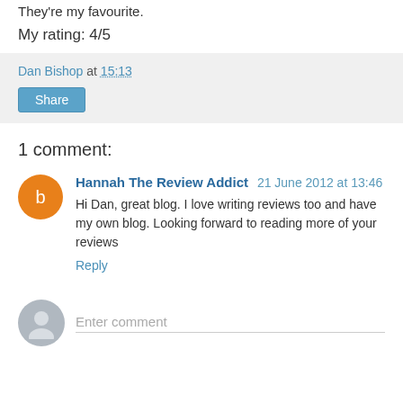They're my favourite.
My rating: 4/5
Dan Bishop at 15:13
Share
1 comment:
Hannah The Review Addict 21 June 2012 at 13:46
Hi Dan, great blog. I love writing reviews too and have my own blog. Looking forward to reading more of your reviews
Reply
Enter comment